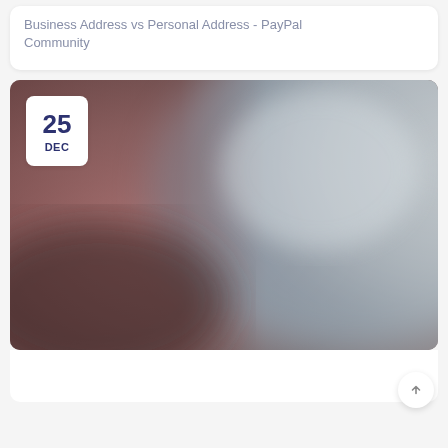Business Address vs Personal Address - PayPal Community
[Figure (photo): Blurred/abstract background image with warm brown tones on the left and cool gray-blue tones on the right, containing a white date badge overlay showing '25 DEC']